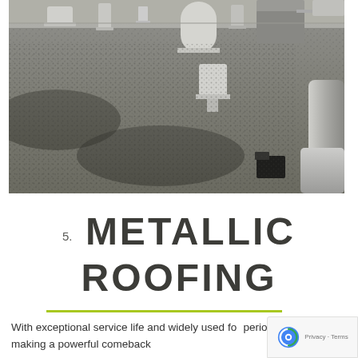[Figure (photo): Flat commercial roof surface with gravel/bitumen covering, showing several HVAC vents, pipes, and ductwork. Dark staining/moisture areas visible on the roof surface. Large cylindrical duct/vent visible on right side.]
5. METALLIC ROOFING
With exceptional service life and widely used for period houses, it is making a powerful comeback